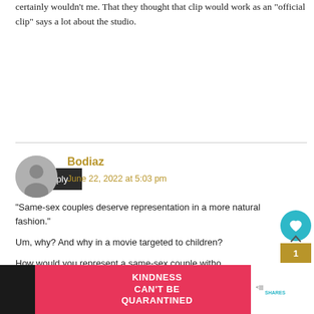certainly wouldn't me. That they thought that clip would work as an “official clip” says a lot about the studio.
Reply
Bodiaz
June 22, 2022 at 5:03 pm
“Same-sex couples deserve representation in a more natural fashion.”
Um, why? And why in a movie targeted to children?
How would you represent a same-sex couple without showing something sexualized? Butch Cassidy and Sundance Kid is one brokeback scene away from making that duo a same-sex couple.
[Figure (other): Pink advertisement banner reading KINDNESS CAN'T BE QUARANTINED with close button]